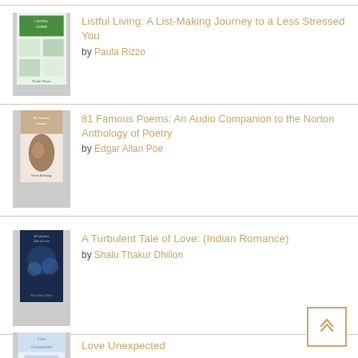Listful Living: A List-Making Journey to a Less Stressed You by Paula Rizzo
81 Famous Poems: An Audio Companion to the Norton Anthology of Poetry by Edgar Allan Poe
A Turbulent Tale of Love: (Indian Romance) by Shalu Thakur Dhillon
Love Unexpected by Ritu Kakkar
Product Management For Dummies by Brian Lawley